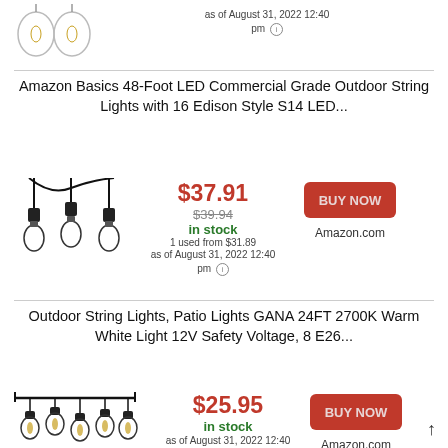[Figure (photo): Partial product image of Edison style bulbs, cut off at top]
as of August 31, 2022 12:40 pm ℹ
Amazon Basics 48-Foot LED Commercial Grade Outdoor String Lights with 16 Edison Style S14 LED...
[Figure (photo): String lights with three pendant-style bulb sockets on black wire]
$37.91
$39.94
in stock
1 used from $31.89
as of August 31, 2022 12:40 pm ℹ
BUY NOW
Amazon.com
Outdoor String Lights, Patio Lights GANA 24FT 2700K Warm White Light 12V Safety Voltage, 8 E26...
[Figure (photo): Outdoor string lights with Edison style filament bulbs hanging from horizontal bar]
$25.95
in stock
as of August 31, 2022 12:40 pm ℹ
BUY NOW
Amazon.com